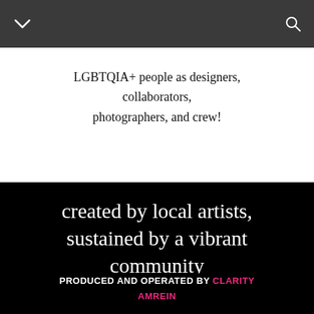LGBTQIA+ people as designers, collaborators, photographers, and crew!
created by local artists, sustained by a vibrant community
PRODUCED AND OPERATED BY CLARITY AMREIN